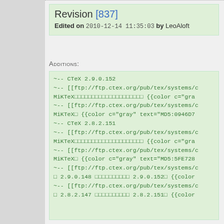Revision [837]
Edited on 2010-12-14 11:35:03 by LeoAloft
Additions:
~-- CTeX 2.9.0.152
~-- [[ftp://ftp.ctex.org/pub/tex/systems/c...
MiKTeX□□□□□□□□□□□□□□□□□□□□ {{color c="gra...
~-- [[ftp://ftp.ctex.org/pub/tex/systems/c...
MiKTeX□ {{color c="gray" text="MD5:0946D7...
~-- CTeX 2.8.2.151
~-- [[ftp://ftp.ctex.org/pub/tex/systems/c...
MiKTeX□□□□□□□□□□□□□□□□□□□□ {{color c="gra...
~-- [[ftp://ftp.ctex.org/pub/tex/systems/c...
MiKTeX□ {{color c="gray" text="MD5:5FE728...
~-- [[ftp://ftp.ctex.org/pub/tex/systems/c...
□ 2.9.0.148 □□□□□□□□□□ 2.9.0.152□ {{color ...
~-- [[ftp://ftp.ctex.org/pub/tex/systems/c...
□ 2.8.2.147 □□□□□□□□□□ 2.8.2.151□ {{color ...